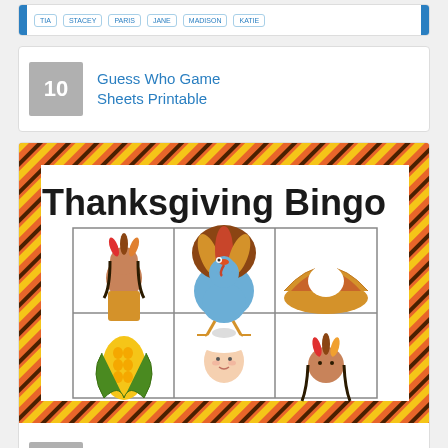[Figure (screenshot): Partial table/game sheet strip with blue bar on left and labeled column headers: TIA, STACEY, PARIS, JANE, MADISON, KATIE]
10
Guess Who Game Sheets Printable
[Figure (illustration): Thanksgiving Bingo card with orange and yellow diagonal stripe border, title 'Thanksgiving Bingo', grid showing Native American girl, turkey, pumpkin pie, corn, Pilgrim child, and another Native American character]
10
Printable Thanksgiving Card Games